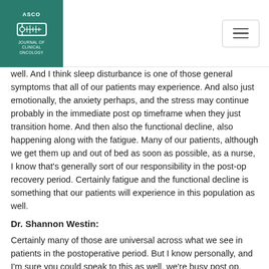ASCO Journal of Clinical Oncology
well. And I think sleep disturbance is one of those general symptoms that all of our patients may experience. And also just emotionally, the anxiety perhaps, and the stress may continue probably in the immediate post op timeframe when they just transition home. And then also the functional decline, also happening along with the fatigue. Many of our patients, although we get them up and out of bed as soon as possible, as a nurse, I know that's generally sort of our responsibility in the post-op recovery period. Certainly fatigue and the functional decline is something that our patients will experience in this population as well.
Dr. Shannon Westin:
Certainly many of those are universal across what we see in patients in the postoperative period. But I know personally, and I'm sure you could speak to this as well, we're busy post op, right? Especially whether you're rounding in the hospital, or you're seeing patients in post op in the clinic, I don't know how much we really get super deep dive into a lot of these symptoms. So I think that's what makes this work so important. So I'll just have you, if you could, briefly discuss this